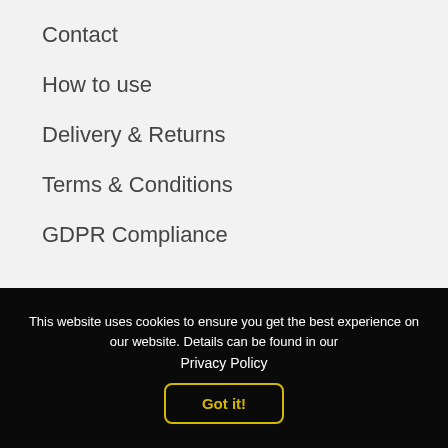Contact
How to use
Delivery & Returns
Terms & Conditions
GDPR Compliance
This website uses cookies to ensure you get the best experience on our website. Details can be found in our
Privacy Policy
Got it!